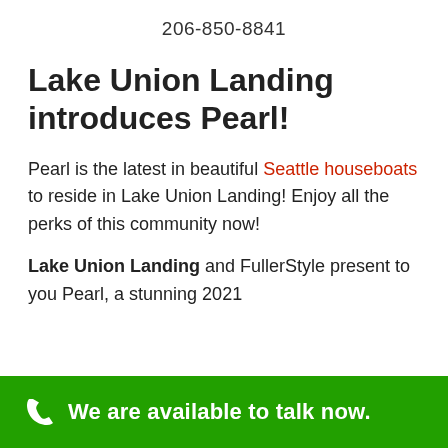206-850-8841
Lake Union Landing introduces Pearl!
Pearl is the latest in beautiful Seattle houseboats to reside in Lake Union Landing! Enjoy all the perks of this community now!
Lake Union Landing and FullerStyle present to you Pearl, a stunning 2021
We are available to talk now.